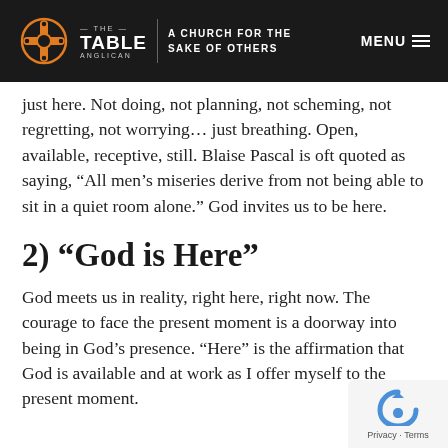THE TABLE ANGLICAN | A CHURCH FOR THE SAKE OF OTHERS | MENU
just here. Not doing, not planning, not scheming, not regretting, not worrying… just breathing. Open, available, receptive, still. Blaise Pascal is oft quoted as saying, “All men’s miseries derive from not being able to sit in a quiet room alone.” God invites us to be here.
2) “God is Here”
God meets us in reality, right here, right now. The courage to face the present moment is a doorway into being in God’s presence. “Here” is the affirmation that God is available and at work as I offer myself to the present moment.